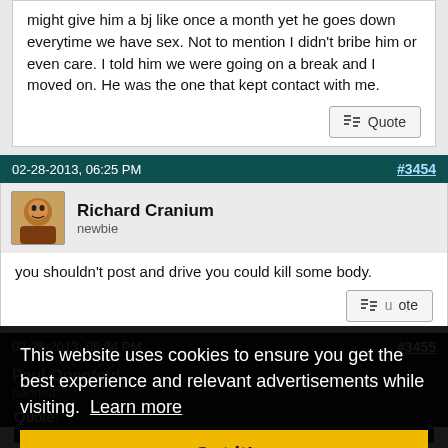might give him a bj like once a month yet he goes down everytime we have sex. Not to mention I didn't bribe him or even care. I told him we were going on a break and I moved on. He was the one that kept contact with me.
Quote
02-28-2013, 06:25 PM   #3454
Richard Cranium
newbie
you shouldn't post and drive you could kill some body.
Quote
02-28-2013, 06:34 PM   #3455
Paul Openfold
banned
Quote:
This website uses cookies to ensure you get the best experience and relevant advertisements while visiting. Learn more
Got it!